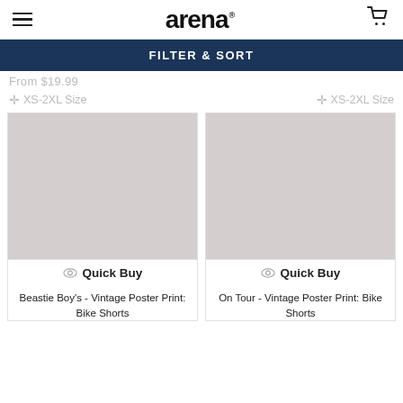arena
FILTER & SORT
From $19.99
XS-2XL Size
XS-2XL Size
[Figure (photo): Placeholder product image (light grey) for Beastie Boy's Vintage Poster Print Bike Shorts]
Quick Buy
Beastie Boy's - Vintage Poster Print: Bike Shorts
[Figure (photo): Placeholder product image (light grey) for On Tour Vintage Poster Print Bike Shorts]
Quick Buy
On Tour - Vintage Poster Print: Bike Shorts